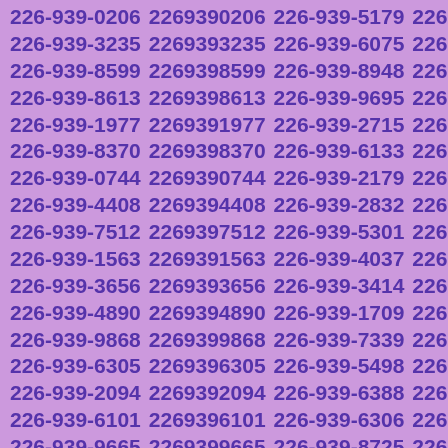| 226-939-0206 | 2269390206 | 226-939-5179 | 2269395179 |
| 226-939-3235 | 2269393235 | 226-939-6075 | 2269396075 |
| 226-939-8599 | 2269398599 | 226-939-8948 | 2269398948 |
| 226-939-8613 | 2269398613 | 226-939-9695 | 2269399695 |
| 226-939-1977 | 2269391977 | 226-939-2715 | 2269392715 |
| 226-939-8370 | 2269398370 | 226-939-6133 | 2269396133 |
| 226-939-0744 | 2269390744 | 226-939-2179 | 2269392179 |
| 226-939-4408 | 2269394408 | 226-939-2832 | 2269392832 |
| 226-939-7512 | 2269397512 | 226-939-5301 | 2269395301 |
| 226-939-1563 | 2269391563 | 226-939-4037 | 2269394037 |
| 226-939-3656 | 2269393656 | 226-939-3414 | 2269393414 |
| 226-939-4890 | 2269394890 | 226-939-1709 | 2269391709 |
| 226-939-9868 | 2269399868 | 226-939-7339 | 2269397339 |
| 226-939-6305 | 2269396305 | 226-939-5498 | 2269395498 |
| 226-939-2094 | 2269392094 | 226-939-6388 | 2269396388 |
| 226-939-6101 | 2269396101 | 226-939-6306 | 2269396306 |
| 226-939-9665 | 2269399665 | 226-939-8725 | 2269398725 |
| 226-939-6876 | 2269396876 | 226-939-1627 | 2269391627 |
| 226-939-7075 | 2269397075 | 226-939-5608 | 2269395608 |
| 226-939-5670 | 2269395670 | 226-939-9247 | 2269399247 |
| 226-939-5161 | 2269395161 | 226-939-3694 | 2269393694 |